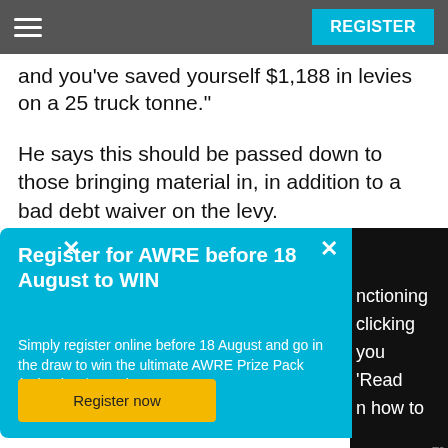REGISTER
and you've saved yourself $1,188 in levies on a 25 truck tonne."
He says this should be passed down to those bringing material in, in addition to a bad debt waiver on the levy.
[Figure (screenshot): Popup modal with blue background promoting AWRE registration. Close button top right. Title: Register for AWRE before 18 August to WIN. Body: Simply register online before 18 August and go in the draw to win the ultimate AWRE Prize Pack (valued at $1,000)! Yellow Register now button.]
nctioning clicking you 'Read n how to